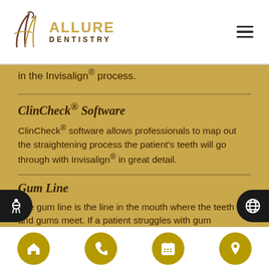Allure Dentistry
in the Invisalign® process.
ClinCheck® Software
ClinCheck® software allows professionals to map out the straightening process the patient's teeth will go through with Invisalign® in great detail.
Gum Line
The gum line is the line in the mouth where the teeth and gums meet. If a patient struggles with gum recession, then the gum tissue around the teeth may
Navigation icons: home, phone, calendar, location